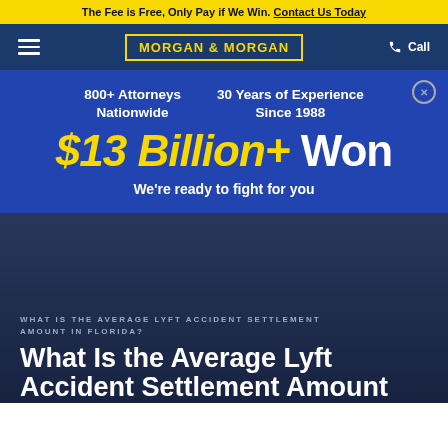The Fee is Free, Only Pay if We Win. Contact Us Today
[Figure (screenshot): Morgan & Morgan law firm website screenshot showing navigation bar with hamburger menu, Morgan & Morgan logo, and Call button on dark blue background]
[Figure (infographic): Blue promotional banner showing '800+ Attorneys Nationwide', '30 Years of Experience Since 1988', '$13 Billion+ Won', 'We're ready to fight for you']
WHAT IS THE AVERAGE LYFT ACCIDENT SETTLEMENT AMOUNT IN FLORIDA?
What Is the Average Lyft Accident Settlement Amount